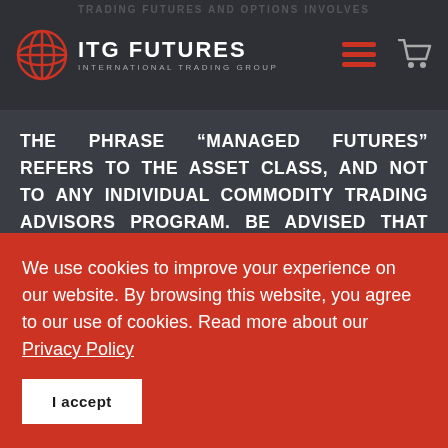ITG FUTURES INTERNATIONAL TRADING GROUP
THE PHRASE “MANAGED FUTURES” REFERS TO THE ASSET CLASS, AND NOT TO ANY INDIVIDUAL COMMODITY TRADING ADVISORS PROGRAM. BE ADVISED THAT AN INDIVIDUAL PROGRAM COULD HAVE BETTER OR WORSE PERFORMANCE RESULTS WHEN COMPARED TO THE STOCK MARKET. THERE ARE NO GUARANTEES OF PROFIT NO MATTER WHO IS MANAGING YOUR MONEY. PAST
We use cookies to improve your experience on our website. By browsing this website, you agree to our use of cookies. Read more about our Privacy Policy
I accept